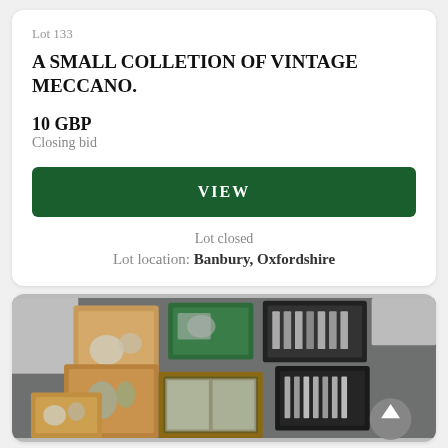Lot 133
A SMALL COLLETION OF VINTAGE MECCANO.
10 GBP
Closing bid
VIEW
Lot closed
Lot location: Banbury, Oxfordshire
[Figure (photo): Photo of several cardboard boxes and plastic crates containing various small metal and glass items, possibly vintage Meccano parts, arranged on a grey surface]